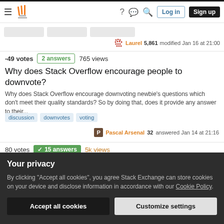Stack Overflow navigation bar with hamburger menu, logo, help, chat, search icons, Log in and Sign up buttons
Laurel 5,861 modified Jan 16 at 21:00
-49 votes  2 answers  765 views
Why does Stack Overflow encourage people to downvote?
Why does Stack Overflow encourage downvoting newbie's questions which don't meet their quality standards? So by doing that, does it provide any answer to their...
discussion
downvotes
voting
Pascal Arsenal 32 answered Jan 14 at 21:16
80 votes  15 answers  5k views
Your privacy
By clicking "Accept all cookies", you agree Stack Exchange can store cookies on your device and disclose information in accordance with our Cookie Policy.
Accept all cookies
Customize settings